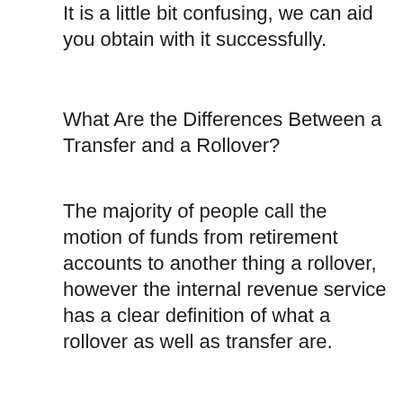It is a little bit confusing, we can aid you obtain with it successfully.
What Are the Differences Between a Transfer and a Rollover?
The majority of people call the motion of funds from retirement accounts to another thing a rollover, however the internal revenue service has a clear definition of what a rollover as well as transfer are.
What is a gold IRA rollover? With this alternative, the cash you move is paid to you first and after that you deposit it into another pension. With a funds transfer, the original Individual retirement account custodian moves the funds right into a Gold IRA account to the new custodian you designate